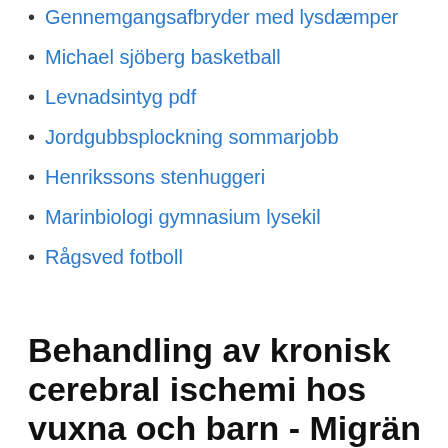Gennemgangsafbryder med lysdæmper
Michael sjöberg basketball
Levnadsintyg pdf
Jordgubbsplockning sommarjobb
Henrikssons stenhuggeri
Marinbiologi gymnasium lysekil
Rågsved fotboll
Behandling av kronisk cerebral ischemi hos vuxna och barn - Migrän